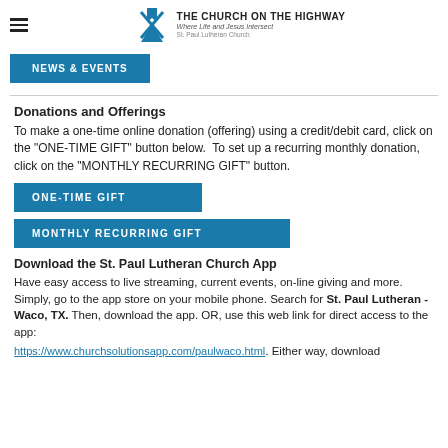THE CHURCH ON THE HIGHWAY | Where Life and Jesus Intersect | St. Paul Lutheran Church
NEWS & EVENTS
Donations and Offerings
To make a one-time online donation (offering) using a credit/debit card, click on the "ONE-TIME GIFT" button below.  To set up a recurring monthly donation, click on the "MONTHLY RECURRING GIFT" button.
ONE-TIME GIFT
MONTHLY RECURRING GIFT
Download the St. Paul Lutheran Church App
Have easy access to live streaming, current events, on-line giving and more. Simply, go to the app store on your mobile phone. Search for St. Paul Lutheran - Waco, TX. Then, download the app. OR, use this web link for direct access to the app:
https://www.churchsolutionsapp.com/paulwaco.html. Either way, download